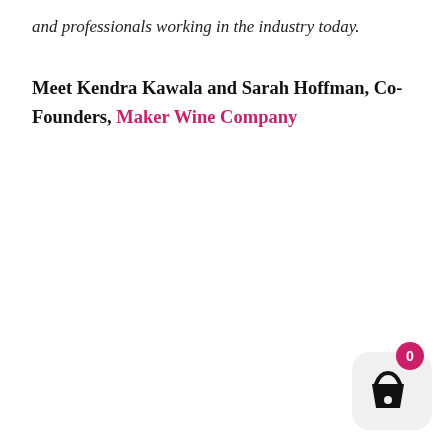and professionals working in the industry today.
Meet Kendra Kawala and Sarah Hoffman, Co-Founders, Maker Wine Company
[Figure (illustration): Shopping basket widget with pink circular badge showing '0' count, and a basket icon on a light grey rounded-square background, positioned in the bottom-right corner.]